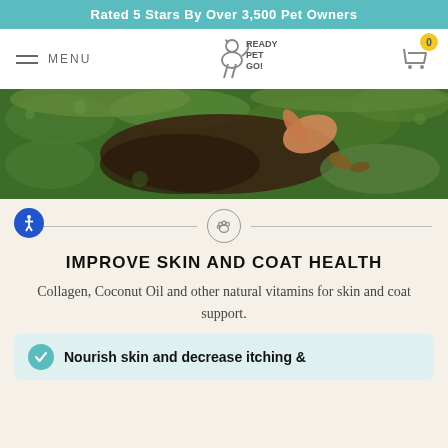Rated 5 Stars By Over 3,500 Pet Owners
[Figure (screenshot): Ready Pet Go! website navigation bar with menu button, logo, and shopping cart with 0 items badge]
[Figure (photo): Outdoor nature photo showing green moss and dark soil/earth with a hand touching the ground]
[Figure (illustration): Paw print icon inside a circle, centered between two horizontal divider lines]
IMPROVE SKIN AND COAT HEALTH
Collagen, Coconut Oil and other natural vitamins for skin and coat support.
Nourish skin and decrease itching &